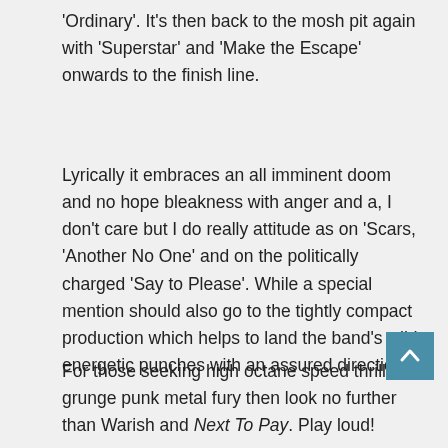'Ordinary'. It's then back to the mosh pit again with 'Superstar' and 'Make the Escape' onwards to the finish line.
Lyrically it embraces an all imminent doom and no hope bleakness with anger and a, I don't care but I do really attitude as on 'Scars, 'Another No One' and on the politically charged 'Say to Please'. While a special mention should also go to the tightly compact production which helps to land the band's wild energetic punches with an assured direction.
For those seeking high octane speed thrills of grunge punk metal fury then look no further than Warish and Next To Pay. Play loud!